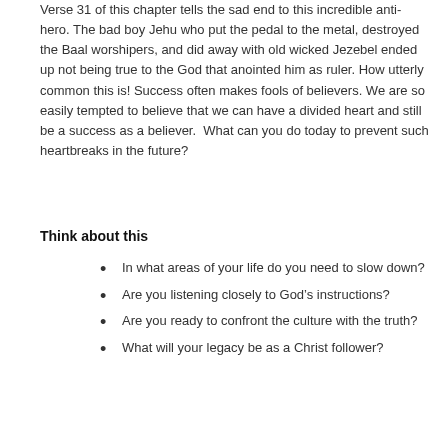Verse 31 of this chapter tells the sad end to this incredible anti-hero. The bad boy Jehu who put the pedal to the metal, destroyed the Baal worshipers, and did away with old wicked Jezebel ended up not being true to the God that anointed him as ruler. How utterly common this is! Success often makes fools of believers. We are so easily tempted to believe that we can have a divided heart and still be a success as a believer.  What can you do today to prevent such heartbreaks in the future?
Think about this
In what areas of your life do you need to slow down?
Are you listening closely to God’s instructions?
Are you ready to confront the culture with the truth?
What will your legacy be as a Christ follower?